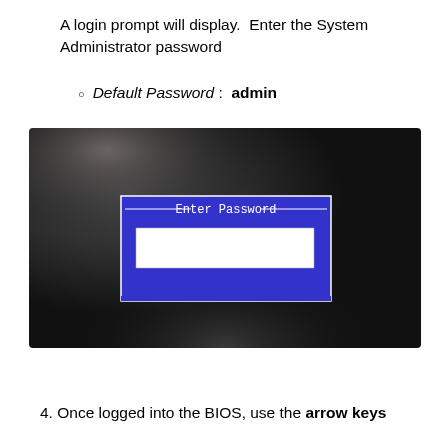A login prompt will display.  Enter the System Administrator password
Default Password :  admin
[Figure (screenshot): A computer screen showing a BIOS-style blue dialog box with the title 'Enter Password' and a white text input field below it, set against a dark background.]
4. Once logged into the BIOS, use the arrow keys